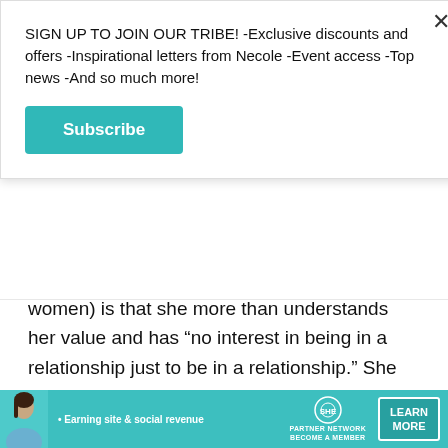SIGN UP TO JOIN OUR TRIBE! -Exclusive discounts and offers -Inspirational letters from Necole -Event access -Top news -And so much more!
[Figure (other): Teal Subscribe button]
women) is that she more than understands her value and has "no interest in being in a relationship just to be in a relationship." She stated in a recent interview on Kevin Hart's Hart to Heart show, "I'm a rare breed."
KEEP READING...
[Figure (infographic): SHE Partner Network advertisement banner: Earning site & social revenue. Become a member. Learn More.]